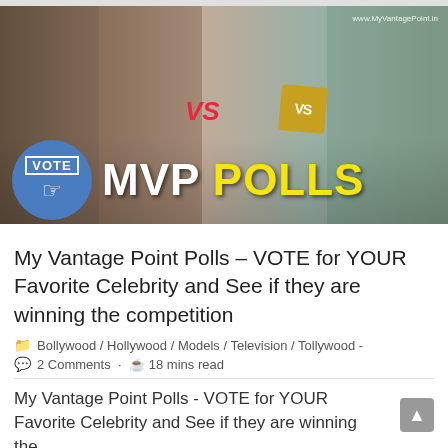[Figure (photo): MVP Polls promotional image showing Bollywood/Tollywood celebrities (men and women) with 'VS' battle badges, a blue 'VOTE' circle button with a hand cursor icon, and bold text 'MVP POLLS' in white and yellow. Watermark 'www.MyVantagePoint.in' in top right corner.]
My Vantage Point Polls – VOTE for YOUR Favorite Celebrity and See if they are winning the competition
Bollywood / Hollywood / Models / Television / Tollywood -
2 Comments  ·  18 mins read
My Vantage Point Polls - VOTE for YOUR Favorite Celebrity and See if they are winning the